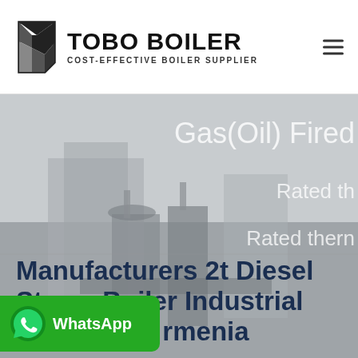[Figure (logo): TOBO BOILER logo with black angular icon and text 'TOBO BOILER COST-EFFECTIVE BOILER SUPPLIER']
[Figure (photo): Industrial boiler equipment screenshot hero banner with text overlays 'Gas(Oil) Fired', 'Rated th...', 'Rated therm...' and a WhatsApp button overlay]
Manufacturers 2t Diesel Steam Boiler Industrial Armenia